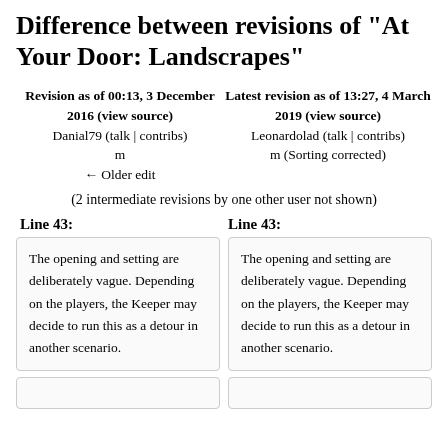Difference between revisions of "At Your Door: Landscrapes"
Revision as of 00:13, 3 December 2016 (view source)
Danial79 (talk | contribs)
m
← Older edit
Latest revision as of 13:27, 4 March 2019 (view source)
Leonardolad (talk | contribs)
m (Sorting corrected)
(2 intermediate revisions by one other user not shown)
Line 43:
Line 43:
The opening and setting are deliberately vague. Depending on the players, the Keeper may decide to run this as a detour in another scenario.
The opening and setting are deliberately vague. Depending on the players, the Keeper may decide to run this as a detour in another scenario.